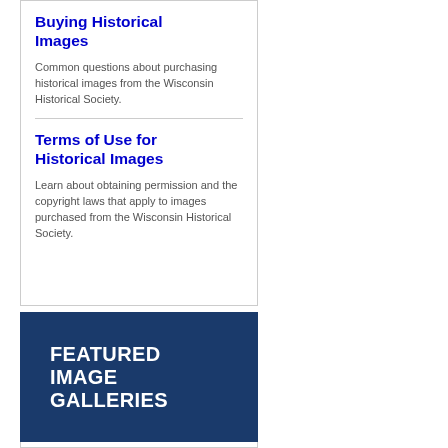Buying Historical Images
Common questions about purchasing historical images from the Wisconsin Historical Society.
Terms of Use for Historical Images
Learn about obtaining permission and the copyright laws that apply to images purchased from the Wisconsin Historical Society.
[Figure (illustration): Dark blue banner with white bold uppercase text reading FEATURED IMAGE GALLERIES]